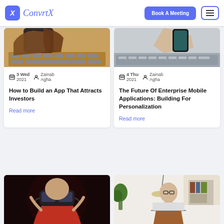ConvrtX — Book A Meeting
[Figure (photo): Two photos side by side: left shows hands holding a smartphone over a keyboard; right shows a hand holding a phone near a laptop keyboard]
3 Wed 2021  Zainab Agha
How to Build an App That Attracts Investors
Read more
4 Thu 2021  Zainab Agha
The Future Of Enterprise Mobile Applications: Building For Personalization
Read more
[Figure (photo): Two photos side by side: left shows a person wearing a VR headset in a dark setting; right shows a man with glasses working at a laptop in a bright office with plants]